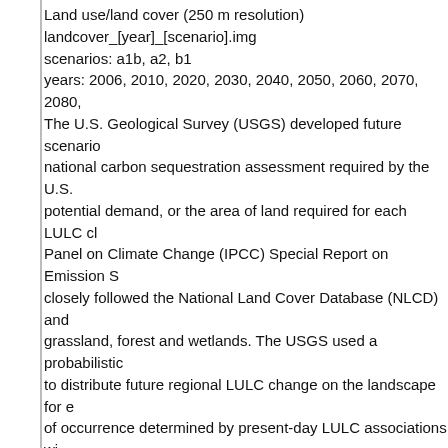Land use/land cover (250 m resolution)
landcover_[year]_[scenario].img
scenarios: a1b, a2, b1
years: 2006, 2010, 2020, 2030, 2040, 2050, 2060, 2070, 2080,
The U.S. Geological Survey (USGS) developed future scenarios national carbon sequestration assessment required by the U.S. potential demand, or the area of land required for each LULC cl Panel on Climate Change (IPCC) Special Report on Emission S closely followed the National Land Cover Database (NLCD) and grassland, forest and wetlands. The USGS used a probabilistic to distribute future regional LULC change on the landscape for e of occurrence determined by present-day LULC associations wi as slope, elevation, soil carbon, climate and distance to roads a
Basin Characterization Model outputs:
Climatic water deficit (270 m resolution)
cwd_[30yrclimateperiod]_[climatescenario].img
climate scenario: ca1b (CSIRO A1B), ma1b (MIROC A1B), ga2 (historic)
climate periods: 1981-2010, 2010-2039, 2040-2069, 2070-2099
See http://climate.calcommons.org/uw/barcaland/cwdMapPa...